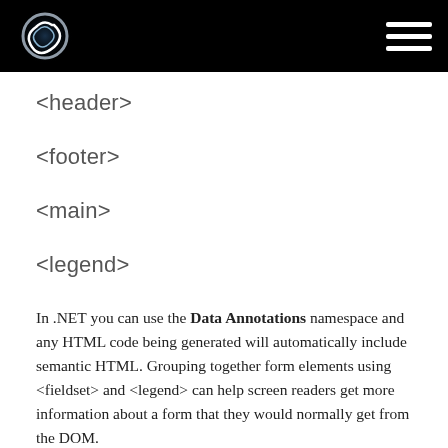[logo] [hamburger menu]
<header>
<footer>
<main>
<legend>
In .NET you can use the Data Annotations namespace and any HTML code being generated will automatically include semantic HTML. Grouping together form elements using <fieldset> and <legend> can help screen readers get more information about a form that they would normally get from the DOM.
HTML5 Has built-in support for assistive technology. Should you be developing for a browser that does not